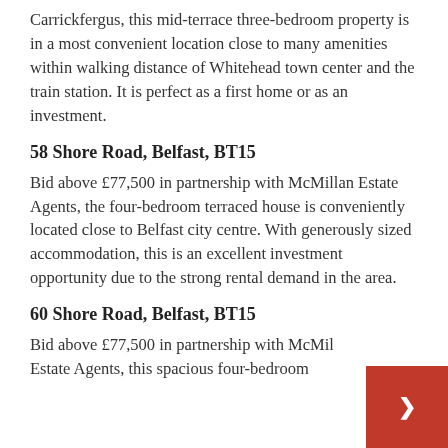Carrickfergus, this mid-terrace three-bedroom property is in a most convenient location close to many amenities within walking distance of Whitehead town center and the train station. It is perfect as a first home or as an investment.
58 Shore Road, Belfast, BT15
Bid above £77,500 in partnership with McMillan Estate Agents, the four-bedroom terraced house is conveniently located close to Belfast city centre. With generously sized accommodation, this is an excellent investment opportunity due to the strong rental demand in the area.
60 Shore Road, Belfast, BT15
Bid above £77,500 in partnership with McMil Estate Agents, this spacious four-bedroom